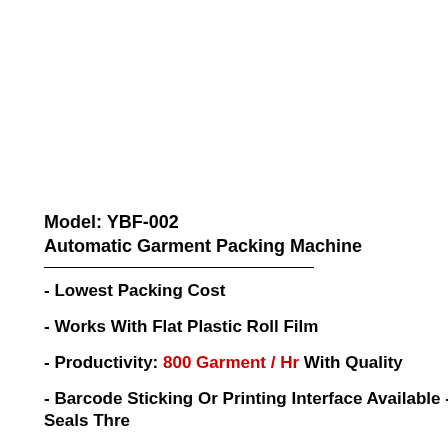Model: YBF-002
Automatic Garment Packing Machine
- Lowest Packing Cost
- Works With Flat Plastic Roll Film
- Productivity: 800 Garment / Hr With Quality
- Barcode Sticking Or Printing Interface Available - Seals Thre
- Simple!